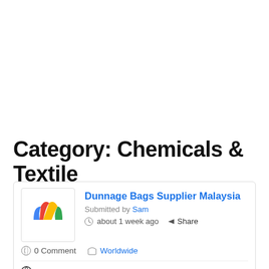Category: Chemicals & Textile
Dunnage Bags Supplier Malaysia
Submitted by Sam
about 1 week ago  Share
0 Comment  Worldwide
https://www.dunnagebags4u.com/
Not mentioned  Not mentioned
Not mentioned
We are one among the top Dunnage suppliers in Malaysia providing